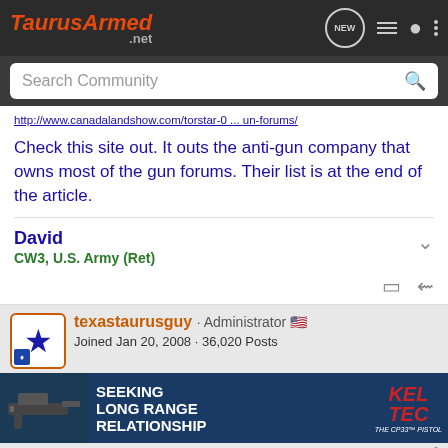TaurusArmed.net
http://www.canadalandshow.com/torstar-o ... un-forums/
Check this site out. It outs the anti-gun company that owns most of the gun forums. Their list is at the end of the article.
David
CW3, U.S. Army (Ret)
texastaurusguy · Administrator
Joined Jan 20, 2008 · 36,020 Posts
[Figure (screenshot): Advertisement banner for Kel-Tec CP33 pistol with text SEEKING LONG RANGE RELATIONSHIP]
#10 · Ap...